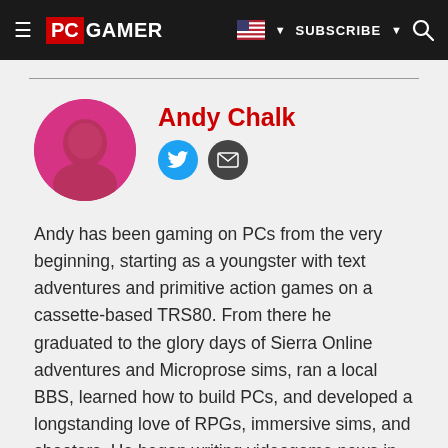PC GAMER | SUBSCRIBE
Andy Chalk
[Figure (photo): Circular author photo of Andy Chalk with pink/magenta tinted filter]
Andy has been gaming on PCs from the very beginning, starting as a youngster with text adventures and primitive action games on a cassette-based TRS80. From there he graduated to the glory days of Sierra Online adventures and Microprose sims, ran a local BBS, learned how to build PCs, and developed a longstanding love of RPGs, immersive sims, and shooters. He began writing videogame news in 2007 for The Escapist and somehow managed to avoid getting fired